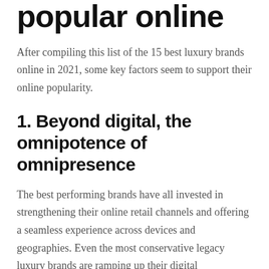popular online
After compiling this list of the 15 best luxury brands online in 2021, some key factors seem to support their online popularity.
1. Beyond digital, the omnipotence of omnipresence
The best performing brands have all invested in strengthening their online retail channels and offering a seamless experience across devices and geographies. Even the most conservative legacy luxury brands are ramping up their digital transformation efforts this year to embrace ecommerce.
Leading luxury brands pivot to omnichannel